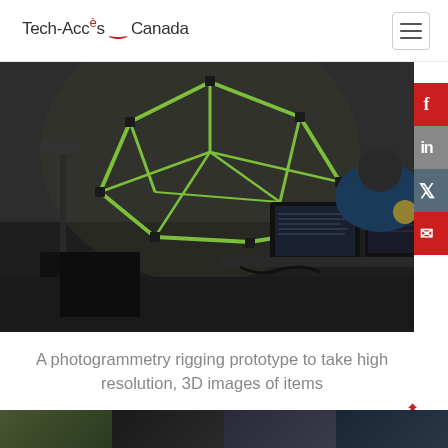Tech-Accès Canada
[Figure (photo): A person working at dual computer monitors in a studio with a photogrammetry rigging prototype — a large geodesic dome structure made of green metal tubes with multiple cameras attached — visible in the background.]
A photogrammetry rigging prototype to take high resolution, 3D images of items
[Figure (photo): Row of thumbnail images at the bottom of the page showing various scenes]